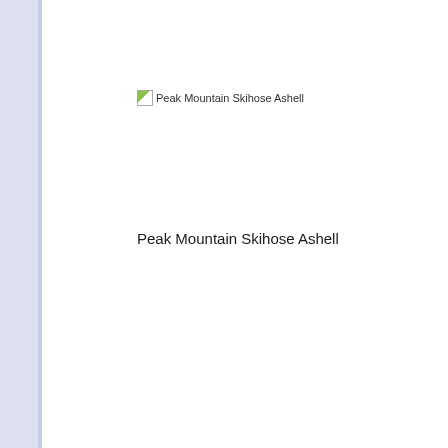[Figure (screenshot): Broken image placeholder for Peak Mountain Skihose Ashell product]
[Figure (screenshot): Red Pinterest Save button with Pinterest logo]
[Figure (screenshot): Broken image placeholder for Columbia product (partially visible)]
Peak Mountain Skihose Ashell
Colum...